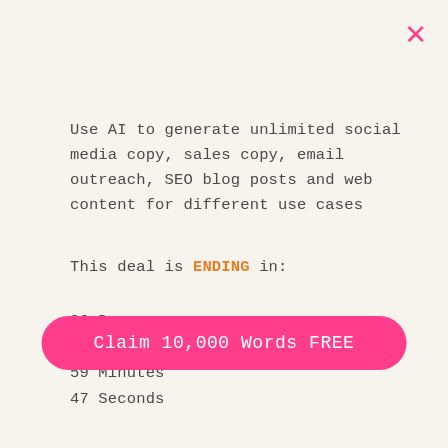×
Use AI to generate unlimited social media copy, sales copy, email outreach, SEO blog posts and web content for different use cases
This deal is ENDING in:
06 Days
23 Hours
59 Minutes
47 Seconds
Claim 10,000 Words FREE